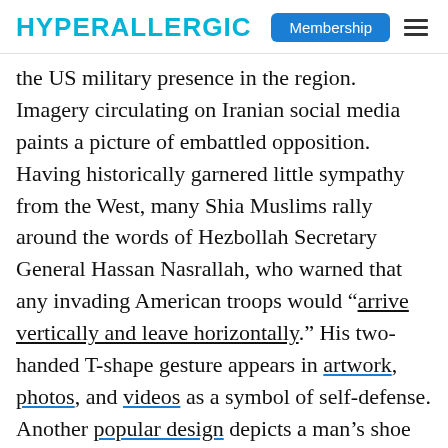HYPERALLERGIC | Membership
the US military presence in the region. Imagery circulating on Iranian social media paints a picture of embattled opposition. Having historically garnered little sympathy from the West, many Shia Muslims rally around the words of Hezbollah Secretary General Hassan Nasrallah, who warned that any invading American troops would “arrive vertically and leave horizontally.” His two-handed T-shape gesture appears in artwork, photos, and videos as a symbol of self-defense. Another popular design depicts a man’s shoe with one lace pulled upwards by a missile. The text in this particular